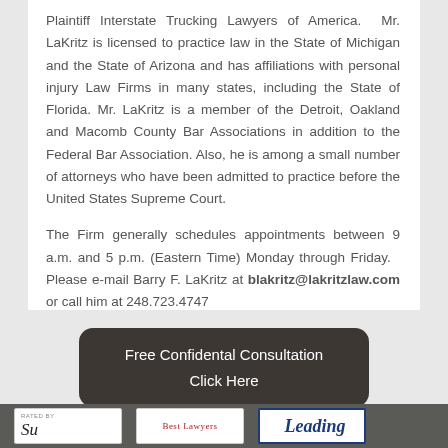Plaintiff Interstate Trucking Lawyers of America.  Mr. LaKritz is licensed to practice law in the State of Michigan and the State of Arizona and has affiliations with personal injury Law Firms in many states, including the State of Florida. Mr. LaKritz is a member of the Detroit, Oakland and Macomb County Bar Associations in addition to the Federal Bar Association. Also, he is among a small number of attorneys who have been admitted to practice before the United States Supreme Court.
The Firm generally schedules appointments between 9 a.m. and 5 p.m. (Eastern Time) Monday through Friday.  Please e-mail Barry F. LaKritz at blakritz@lakritzlaw.com or call him at 248.723.4747
Free Confidental Consultation
Click Here
[Figure (logo): Rated By badge - Super Lawyers style logo]
[Figure (logo): Best Lawyers badge logo]
[Figure (logo): Leading lawyers badge logo]